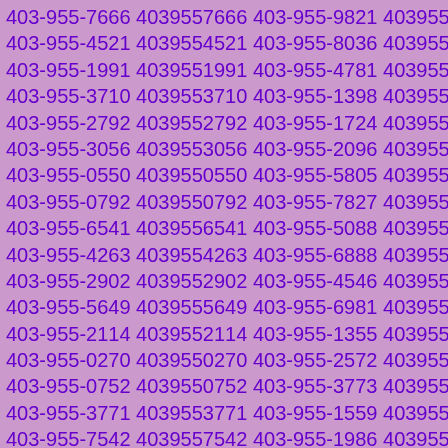403-955-7666 4039557666 403-955-9821 4039559821 403-955-4521 4039554521 403-955-8036 4039558036 403-955-1991 4039551991 403-955-4781 4039554781 403-955-3710 4039553710 403-955-1398 4039551398 403-955-2792 4039552792 403-955-1724 4039551724 403-955-3056 4039553056 403-955-2096 4039552096 403-955-0550 4039550550 403-955-5805 4039555805 403-955-0792 4039550792 403-955-7827 4039557827 403-955-6541 4039556541 403-955-5088 4039555088 403-955-4263 4039554263 403-955-6888 4039556888 403-955-2902 4039552902 403-955-4546 4039554546 403-955-5649 4039555649 403-955-6981 4039556981 403-955-2114 4039552114 403-955-1355 4039551355 403-955-0270 4039550270 403-955-2572 4039552572 403-955-0752 4039550752 403-955-3773 4039553773 403-955-3771 4039553771 403-955-1559 4039551559 403-955-7542 4039557542 403-955-1986 4039551986 403-955-4357 4039554357 403-955-2009 4039552009 403-955-6416 4039556416 403-955-9229 4039559229 403-955-2558 4039552558 403-955-4604 4039554604